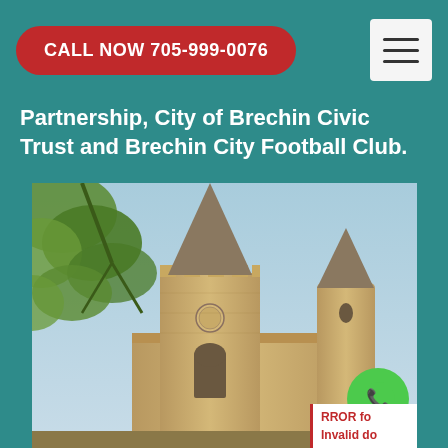CALL NOW 705-999-0076
Partnership, City of Brechin Civic Trust and Brechin City Football Club.
[Figure (photo): Photograph of Brechin Cathedral showing the main Gothic tower with a tall stone spire and an adjacent round tower with a conical top, framed by tree branches on the left, against a light blue sky.]
ERROR for Invalid do